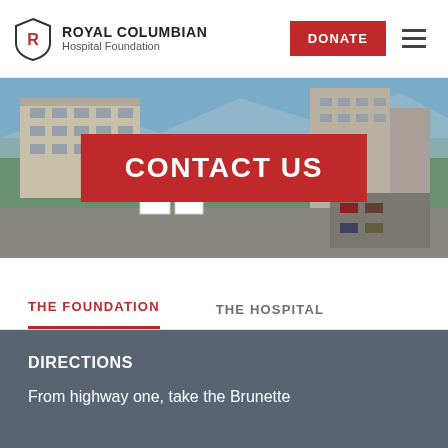Royal Columbian Hospital Foundation — DONATE
[Figure (photo): Aerial/exterior photo of Royal Columbian Hospital building with trees and parking lot, blue sky in background. Red overlay banner reads CONTACT US.]
CONTACT US
THE FOUNDATION
THE HOSPITAL
DIRECTIONS
From highway one, take the Brunette